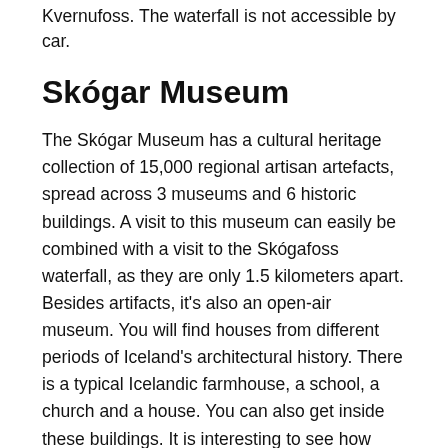Kvernufoss. The waterfall is not accessible by car.
Skógar Museum
The Skógar Museum has a cultural heritage collection of 15,000 regional artisan artefacts, spread across 3 museums and 6 historic buildings. A visit to this museum can easily be combined with a visit to the Skógafoss waterfall, as they are only 1.5 kilometers apart. Besides artifacts, it's also an open-air museum. You will find houses from different periods of Iceland's architectural history. There is a typical Icelandic farmhouse, a school, a church and a house. You can also get inside these buildings. It is interesting to see how they used to live.
The Skógar Museum is open 364 days a year and a